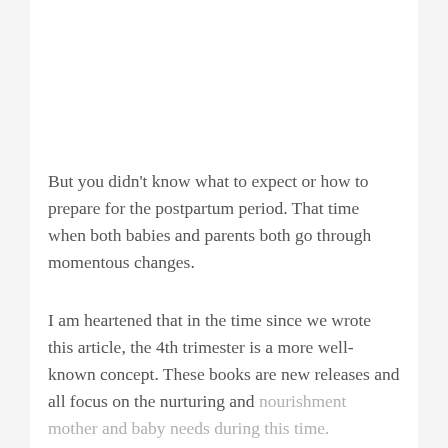But you didn't know what to expect or how to prepare for the postpartum period. That time when both babies and parents both go through momentous changes.
I am heartened that in the time since we wrote this article, the 4th trimester is a more well-known concept. These books are new releases and all focus on the nurturing and nourishment mother and baby needs during this time.